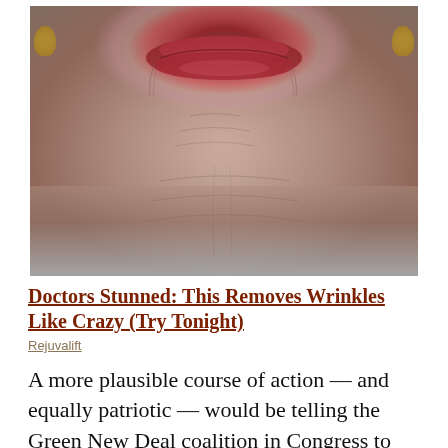[Figure (photo): Close-up photo of an elderly woman's lower face and chin area showing wrinkled skin, red lipstick on lips, and gold earrings visible on both sides. The neck and chin area show heavy wrinkles.]
Doctors Stunned: This Removes Wrinkles Like Crazy (Try Tonight)
Rejuvalift
A more plausible course of action — and equally patriotic — would be telling the Green New Deal coalition in Congress to shut up. There's a war in Ukraine. Vladimir Putin has weaponized oil — as everyone knew he would — and the United States needs to be a powerful player in the oil and energy